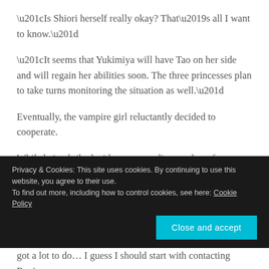“Is Shiori herself really okay? That’s all I want to know.”
“It seems that Yukimiya will have Tao on her side and will regain her abilities soon. The three princesses plan to take turns monitoring the situation as well.”
Eventually, the vampire girl reluctantly decided to cooperate.
While being bribed with pears, we discussed our future actions. For the time being, we decided to have Elmira smooth things out by saying “There must be some reason for
Privacy & Cookies: This site uses cookies. By continuing to use this website, you agree to their use.
To find out more, including how to control cookies, see here: Cookie Policy
got a lot to do… I guess I should start with contacting Renje